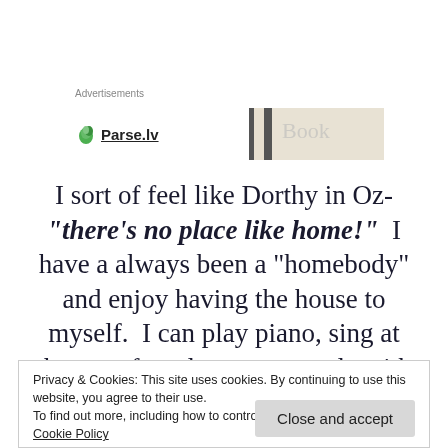Advertisements
[Figure (logo): Parse.lv logo with green leaf icon and underlined bold text, alongside a blurred book cover advertisement image]
I sort of feel like Dorthy in Oz- “there’s no place like home!”  I have a always been a “homebody” and enjoy having the house to myself.  I can play piano, sing at the top of my lungs... snuggle with my dogs (and pet my daughter’s
Privacy & Cookies: This site uses cookies. By continuing to use this website, you agree to their use.
To find out more, including how to control cookies, see here: Cookie Policy
Close and accept
and anyone who knows me well will tell you